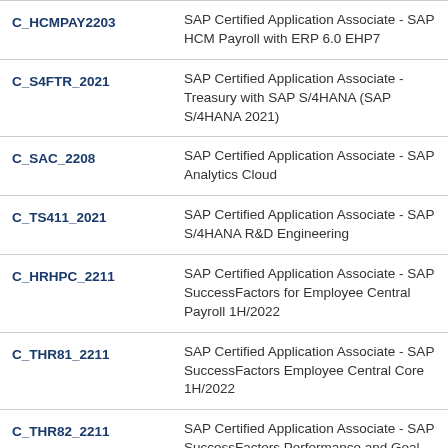| Code | Description |
| --- | --- |
| C_HCMPAY2203 | SAP Certified Application Associate - SAP HCM Payroll with ERP 6.0 EHP7 |
| C_S4FTR_2021 | SAP Certified Application Associate - Treasury with SAP S/4HANA (SAP S/4HANA 2021) |
| C_SAC_2208 | SAP Certified Application Associate - SAP Analytics Cloud |
| C_TS411_2021 | SAP Certified Application Associate - SAP S/4HANA R&D Engineering |
| C_HRHPC_2211 | SAP Certified Application Associate - SAP SuccessFactors for Employee Central Payroll 1H/2022 |
| C_THR81_2211 | SAP Certified Application Associate - SAP SuccessFactors Employee Central Core 1H/2022 |
| C_THR82_2211 | SAP Certified Application Associate - SAP SuccessFactors Performance and Goal Management 1H/2022 |